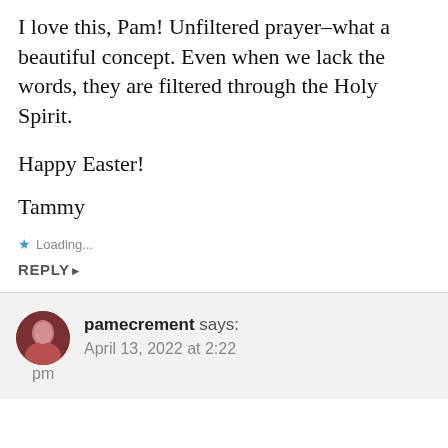I love this, Pam! Unfiltered prayer–what a beautiful concept. Even when we lack the words, they are filtered through the Holy Spirit.
Happy Easter!
Tammy
★ Loading...
REPLY ▸
pamecrement says: April 13, 2022 at 2:22 pm